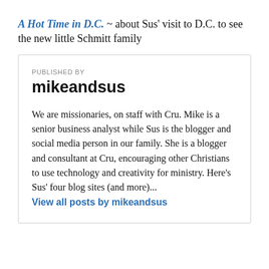A Hot Time in D.C. ~ about Sus' visit to D.C. to see the new little Schmitt family
PUBLISHED BY
mikeandsus
We are missionaries, on staff with Cru. Mike is a senior business analyst while Sus is the blogger and social media person in our family. She is a blogger and consultant at Cru, encouraging other Christians to use technology and creativity for ministry. Here's Sus' four blog sites (and more)...
View all posts by mikeandsus